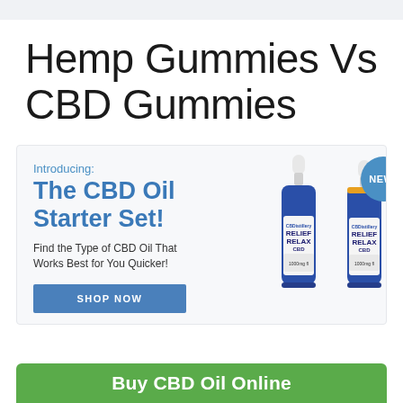Hemp Gummies Vs CBD Gummies
[Figure (infographic): Advertisement banner for CBD Oil Starter Set featuring two blue dropper bottles labeled Relief Relax CBD, with text: Introducing: The CBD Oil Starter Set! Find the Type of CBD Oil That Works Best for You Quicker! SHOP NOW button, and a NEW! badge]
Buy CBD Oil Online